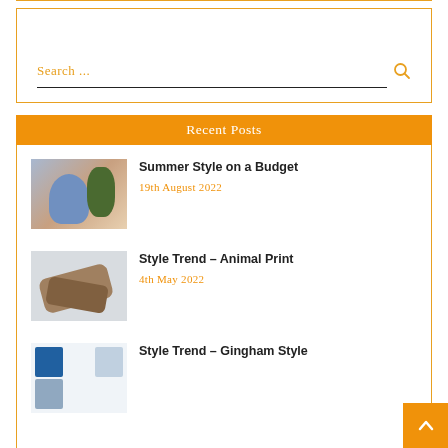[Figure (screenshot): Search box with orange border and search field showing 'Search ...' placeholder text with a magnifying glass icon]
Recent Posts
[Figure (photo): Woman in blue top and floral skirt]
Summer Style on a Budget
19th August 2022
[Figure (photo): Animal print shoes/sneakers on light background]
Style Trend – Animal Print
4th May 2022
[Figure (photo): Gingham style fabric pieces]
Style Trend – Gingham Style